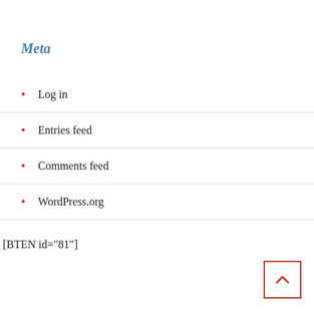Meta
Log in
Entries feed
Comments feed
WordPress.org
[BTEN id="81"]
[Figure (other): Back to top button: a red-bordered square with an upward-pointing chevron/caret icon in red]